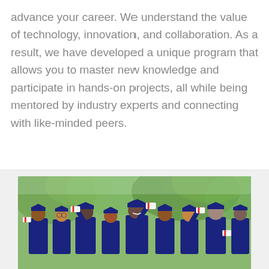advance your career. We understand the value of technology, innovation, and collaboration. As a result, we have developed a unique program that allows you to master new knowledge and participate in hands-on projects, all while being mentored by industry experts and connecting with like-minded peers.
[Figure (photo): Group of happy graduates in dark blue caps and gowns holding diplomas with red ribbons, celebrating outdoors with green trees in the background.]